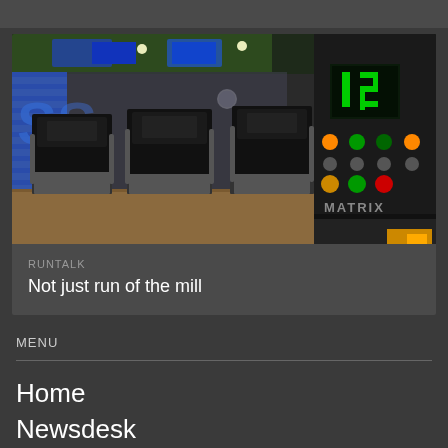[Figure (photo): A row of Matrix treadmills in a gym with blue brick wall, mirrors, TV screens, and a close-up of a treadmill control panel with colorful buttons and digital display showing number 17.]
RUNTALK
Not just run of the mill
MENU
Home
Newsdesk